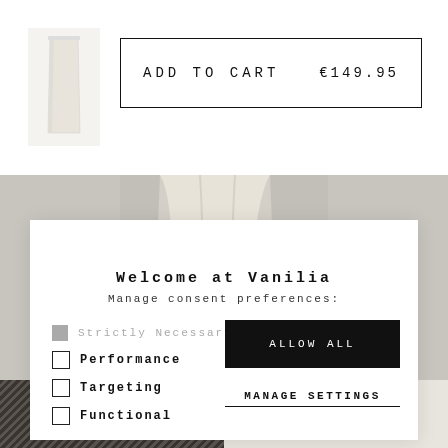[Figure (photo): Product thumbnail of white/cream wide-leg trousers or skirt on white background]
ADD TO CART   €149.95
[Figure (photo): Fashion model wearing cream wide-leg trousers with black loafers, gray background]
Welcome at Vanilia
Manage consent preferences:
Strictly Necessary
Performance
Targeting
Functional
ALLOW ALL
MANAGE SETTINGS
[Figure (photo): Bottom strip showing dark patterned fabric on left and cream fabric on right]